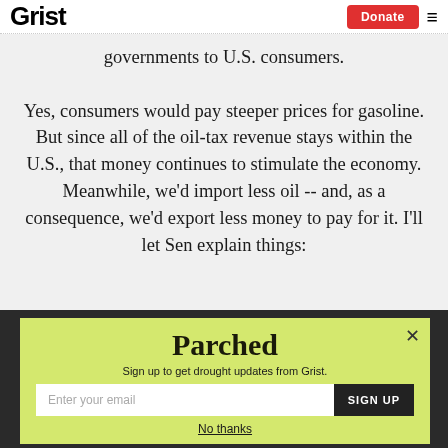Grist | Donate
governments to U.S. consumers.

Yes, consumers would pay steeper prices for gasoline. But since all of the oil-tax revenue stays within the U.S., that money continues to stimulate the economy. Meanwhile, we'd import less oil -- and, as a consequence, we'd export less money to pay for it. I'll let Sen explain things:
[Figure (screenshot): Parched newsletter signup overlay with yellow-green background. Title 'Parched' in bold serif font, subtitle 'Sign up to get drought updates from Grist.', email input field and SIGN UP button, and 'No thanks' link below.]